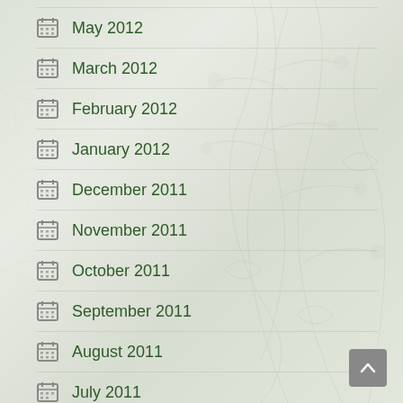May 2012
March 2012
February 2012
January 2012
December 2011
November 2011
October 2011
September 2011
August 2011
July 2011